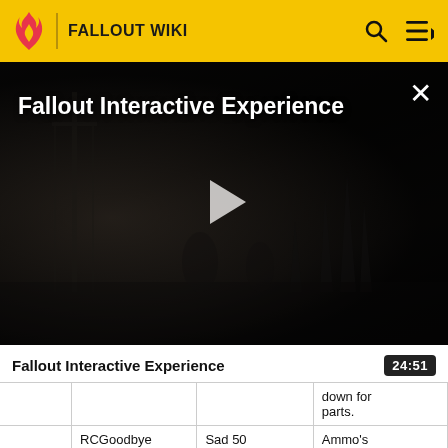FALLOUT WIKI
[Figure (screenshot): Dark post-apocalyptic video thumbnail showing a foggy wasteland scene with a play button overlay. Title reads 'Fallout Interactive Experience' and a close button (×) is in the top right.]
Fallout Interactive Experience
|  |  |  | down for parts. |
|  | RCGoodbye | Sad 50 | Ammo's moving, but |